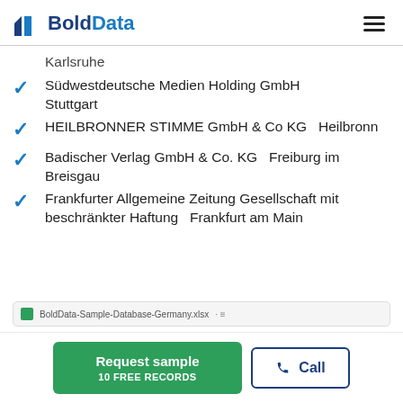BoldData
Karlsruhe
Südwestdeutsche Medien Holding GmbH    Stuttgart
HEILBRONNER STIMME GmbH & Co KG    Heilbronn
Badischer Verlag GmbH & Co. KG    Freiburg im Breisgau
Frankfurter Allgemeine Zeitung Gesellschaft mit beschränkter Haftung    Frankfurt am Main
Request sample 10 FREE RECORDS | Call